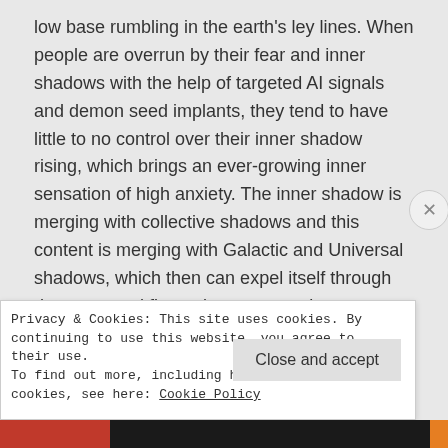low base rumbling in the earth's ley lines. When people are overrun by their fear and inner shadows with the help of targeted AI signals and demon seed implants, they tend to have little to no control over their inner shadow rising, which brings an ever-growing inner sensation of high anxiety. The inner shadow is merging with collective shadows and this content is merging with Galactic and Universal shadows, which then can expel itself through demonstrated fits and rages, spewing emotional
Privacy & Cookies: This site uses cookies. By continuing to use this website, you agree to their use.
To find out more, including how to control cookies, see here: Cookie Policy
Close and accept